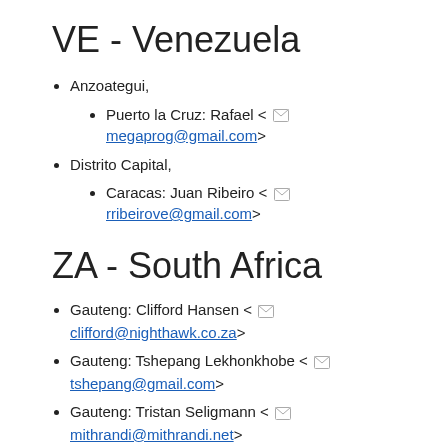VE - Venezuela
Anzoategui,
Puerto la Cruz: Rafael < megaprog@gmail.com>
Distrito Capital,
Caracas: Juan Ribeiro < rribeirove@gmail.com>
ZA - South Africa
Gauteng: Clifford Hansen < clifford@nighthawk.co.za>
Gauteng: Tshepang Lekhonkhobe < tshepang@gmail.com>
Gauteng: Tristan Seligmann < mithrandi@mithrandi.net>